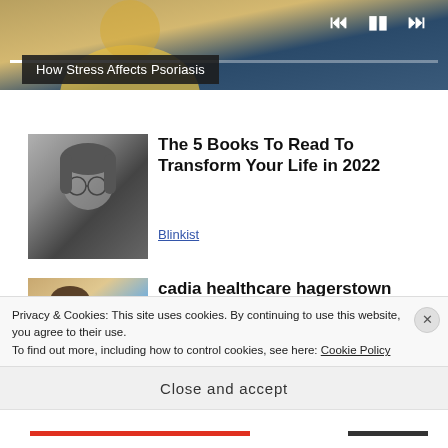[Figure (screenshot): Video player strip showing a person in yellow clothing, with media controls (skip back, pause, skip forward) and a progress bar at top of page]
How Stress Affects Psoriasis
[Figure (photo): Black and white portrait photo of a young man with glasses and long hair]
The 5 Books To Read To Transform Your Life in 2022
Blinkist
[Figure (photo): Color photo of a woman with curly hair and glasses, with other people in the background in blue uniforms]
cadia healthcare hagerstown Nursing Assistant/Patient
Privacy & Cookies: This site uses cookies. By continuing to use this website, you agree to their use.
To find out more, including how to control cookies, see here: Cookie Policy
Close and accept